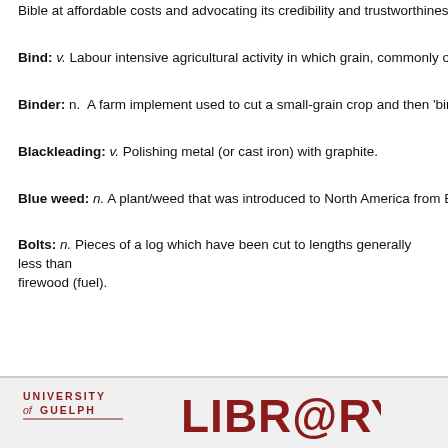Bible at affordable costs and advocating its credibility and trustworthiness in...
Bind: v. Labour intensive agricultural activity in which grain, commonly oat,
Binder: n.  A farm implement used to cut a small-grain crop and then 'binds...
Blackleading: v. Polishing metal (or cast iron) with graphite.
Blue weed: n. A plant/weed that was introduced to North America from Eur...
Bolts: n. Pieces of a log which have been cut to lengths generally less than... firewood (fuel).
University of Guelph LIBR@RY